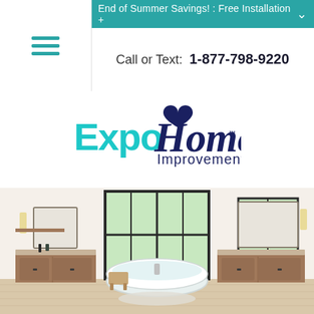End of Summer Savings! : Free Installation +
Call or Text: 1-877-798-9220
[Figure (logo): Expo Home Improvement logo with teal and dark navy lettering, heart shape over the H in Home, and Improvement text below]
[Figure (photo): Modern bright bathroom with freestanding white oval bathtub in center, two wooden vanities on either side, large black-framed windows, light hardwood floors, and wall sconces]